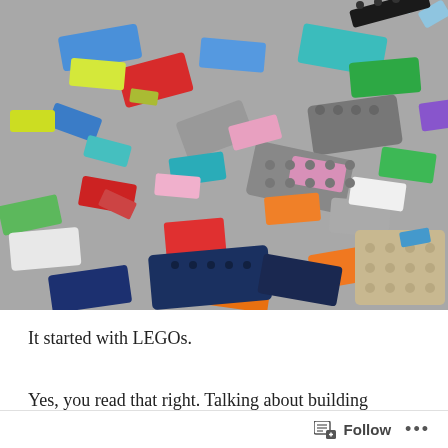[Figure (photo): A large pile of colorful LEGO bricks in various colors including blue, red, gray, green, orange, yellow, pink, purple, white, and dark navy. The bricks are scattered in a random heap, various shapes and sizes visible.]
It started with LEGOs.
Yes, you read that right. Talking about building